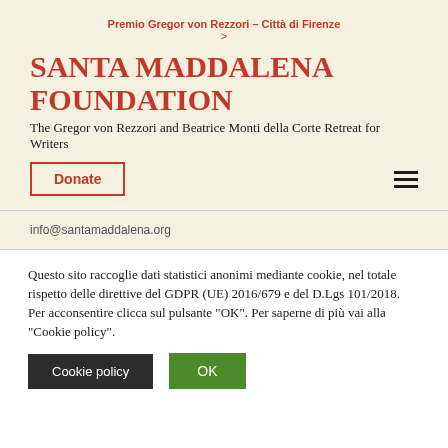Premio Gregor von Rezzori – Città di Firenze >
SANTA MADDALENA FOUNDATION
The Gregor von Rezzori and Beatrice Monti della Corte Retreat for Writers
Donate
info@santamaddalena.org
Questo sito raccoglie dati statistici anonimi mediante cookie, nel totale rispetto delle direttive del GDPR (UE) 2016/679 e del D.Lgs 101/2018.
Per acconsentire clicca sul pulsante "OK". Per saperne di più vai alla "Cookie policy".
Cookie policy
OK